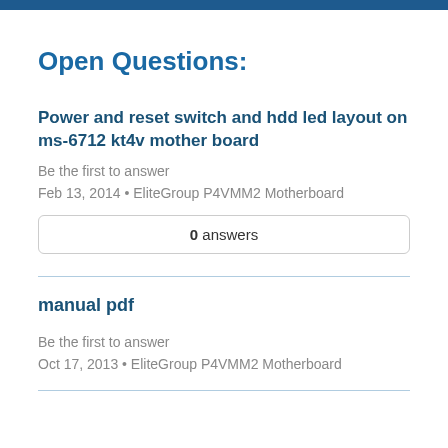Open Questions:
Power and reset switch and hdd led layout on ms-6712 kt4v mother board
Be the first to answer
Feb 13, 2014 • EliteGroup P4VMM2 Motherboard
0 answers
manual pdf
Be the first to answer
Oct 17, 2013 • EliteGroup P4VMM2 Motherboard